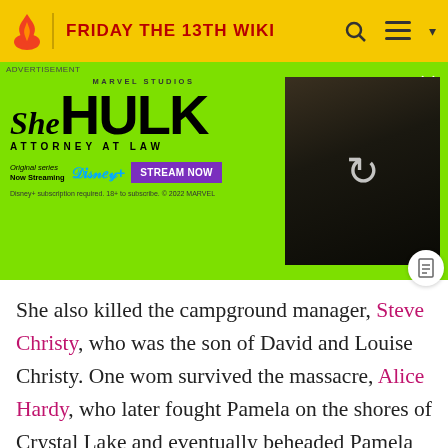FRIDAY THE 13TH WIKI
[Figure (screenshot): She-Hulk Attorney at Law advertisement on green background with character photo and Disney+ Stream Now button]
She also killed the campground manager, Steve Christy, who was the son of David and Louise Christy. One woman survived the massacre, Alice Hardy, who later fought Pamela on the shores of Crystal Lake and eventually beheaded Pamela with her own machete.
Jason Voorhees, still alive and living in the woods nearby, witnessed his mother's death and began a bloody crusade of vengeance against anyone who dared to trespass on